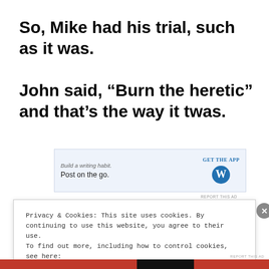So, Mike had his trial, such as it was. John said, “Burn the heretic” and that’s the way it twas.
[Figure (other): WordPress app advertisement banner: 'Build a writing habit. Post on the go.' with GET THE APP button and WordPress logo]
REPORT THIS AD
Privacy & Cookies: This site uses cookies. By continuing to use this website, you agree to their use.
To find out more, including how to control cookies, see here:
Cookie Policy
Close and accept